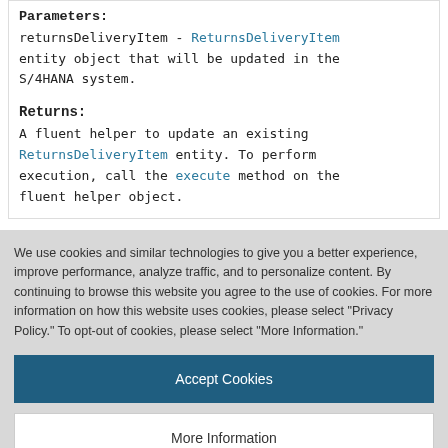Parameters:
returnsDeliveryItem - ReturnsDeliveryItem entity object that will be updated in the S/4HANA system.
Returns:
A fluent helper to update an existing ReturnsDeliveryItem entity. To perform execution, call the execute method on the fluent helper object.
We use cookies and similar technologies to give you a better experience, improve performance, analyze traffic, and to personalize content. By continuing to browse this website you agree to the use of cookies. For more information on how this website uses cookies, please select "Privacy Policy." To opt-out of cookies, please select "More Information."
Accept Cookies
More Information
Privacy Policy | Powered by: TrustArc
entity object that will be deleted in the